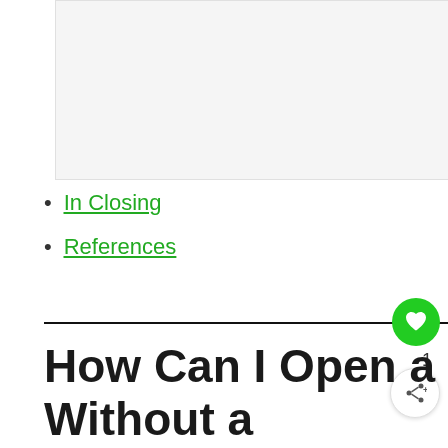[Figure (other): Light gray placeholder image area at top of page]
In Closing
References
How Can I Open a Bank Account Online Without a